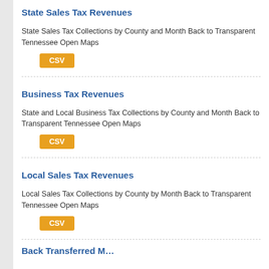State Sales Tax Revenues
State Sales Tax Collections by County and Month Back to Transparent Tennessee Open Maps
[Figure (other): CSV button (orange)]
Business Tax Revenues
State and Local Business Tax Collections by County and Month Back to Transparent Tennessee Open Maps
[Figure (other): CSV button (orange)]
Local Sales Tax Revenues
Local Sales Tax Collections by County by Month Back to Transparent Tennessee Open Maps
[Figure (other): CSV button (orange)]
Back Transferred M…